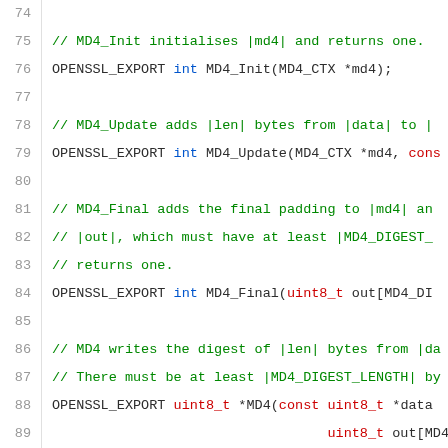[Figure (screenshot): Source code listing showing C/C++ header declarations for MD4 cryptographic hash functions (OpenSSL API), lines 74-95, with syntax highlighting: line numbers in gray, comments in green/dark-red, keywords in blue, identifiers in dark text.]